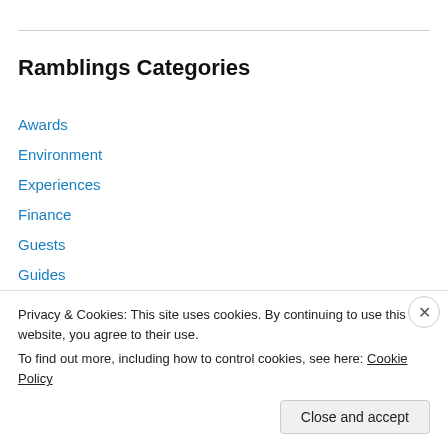Ramblings Categories
Awards
Environment
Experiences
Finance
Guests
Guides
Humour
InfoTech
Linux
Web development
Privacy & Cookies: This site uses cookies. By continuing to use this website, you agree to their use. To find out more, including how to control cookies, see here: Cookie Policy
Close and accept